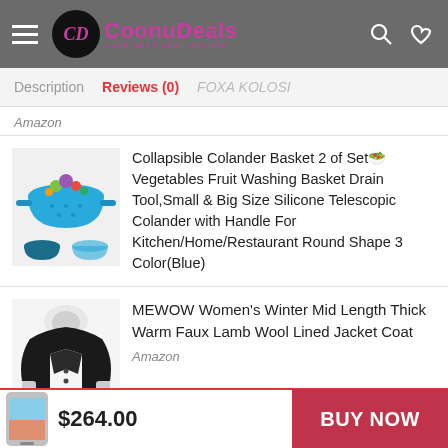CoonuDeals — YOUR BEST DEAL SOURCE
Description | Reviews (0)
Amazon
Collapsible Colander Basket 2 of Set🥗 Vegetables Fruit Washing Basket Drain Tool,Small & Big Size Silicone Telescopic Colander with Handle For Kitchen/Home/Restaurant Round Shape 3 Color(Blue)
MEWOW Women's Winter Mid Length Thick Warm Faux Lamb Wool Lined Jacket Coat
Amazon
$264.00
BUY NOW